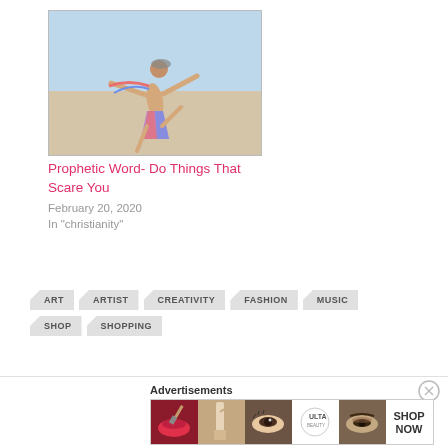[Figure (photo): Person jumping with arms spread, wearing colorful outfit, against light blue sky background]
Prophetic Word- Do Things That Scare You
February 20, 2020
In "christianity"
ART
ARTIST
CREATIVITY
FASHION
MUSIC
SHOP
SHOPPING
Advertisements
[Figure (photo): Ulta Beauty advertisement banner showing makeup looks including lips, brush, eye, Ulta logo, eyebrows, and SHOP NOW text]